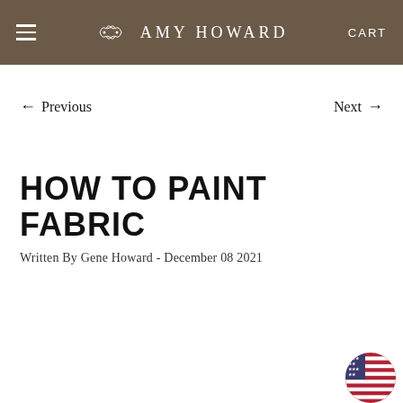AMY HOWARD
← Previous    Next →
HOW TO PAINT FABRIC
Written By Gene Howard - December 08 2021